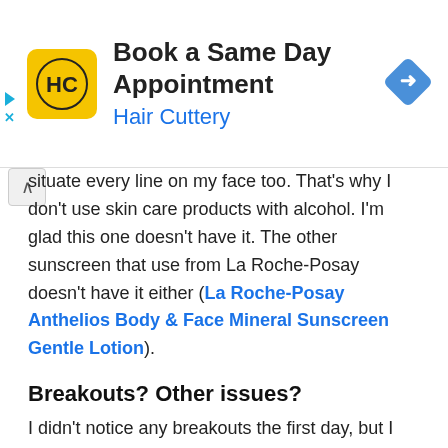[Figure (other): Hair Cuttery advertisement banner with logo, 'Book a Same Day Appointment' title, subtitle 'Hair Cuttery', and a blue diamond navigation icon]
situate every line on my face too. That's why I don't use skin care products with alcohol. I'm glad this one doesn't have it. The other sunscreen that use from La Roche-Posay doesn't have it either (La Roche-Posay Anthelios Body & Face Mineral Sunscreen Gentle Lotion).
Breakouts? Other issues?
I didn't notice any breakouts the first day, but I noticed breakouts on the second day. I developed one cyst, clogged pores, and a few more bumps. I didn't doubt the breakouts. Once I saw the acne, I rinsed the sunscreen off ASAP. I think this sunscreen is way too heavy and greasy for my skin type, which is oily and acne-prone. It just sits on top of my skin and